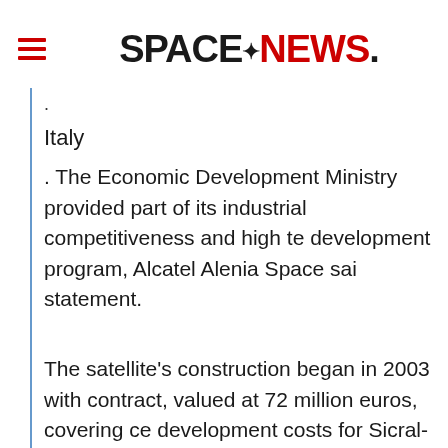SPACENEWS.
Italy
. The Economic Development Ministry provided part of its industrial competitiveness and high te development program, Alcatel Alenia Space sai statement.
The satellite's construction began in 2003 with contract, valued at 72 million euros, covering ce development costs for Sicral-1B and its ground Alcatel Alenia Space said it expects a final cont complete Sicral-1B's ground infrastructure later